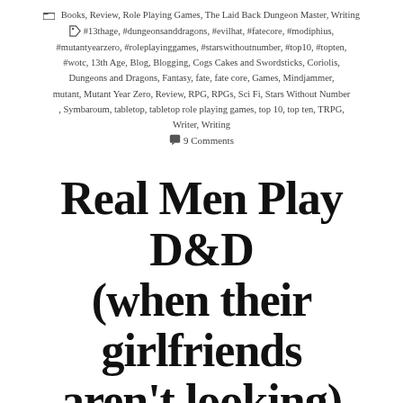Books, Review, Role Playing Games, The Laid Back Dungeon Master, Writing
#13thage, #dungeonsanddragons, #evilhat, #fatecore, #modiphius, #mutantyearzero, #roleplayinggames, #starswithoutnumber, #top10, #topten, #wotc, 13th Age, Blog, Blogging, Cogs Cakes and Swordsticks, Coriolis, Dungeons and Dragons, Fantasy, fate, fate core, Games, Mindjammer, mutant, Mutant Year Zero, Review, RPG, RPGs, Sci Fi, Stars Without Number, Symbaroum, tabletop, tabletop role playing games, top 10, top ten, TRPG, Writer, Writing
9 Comments
Real Men Play D&D (when their girlfriends aren't looking)